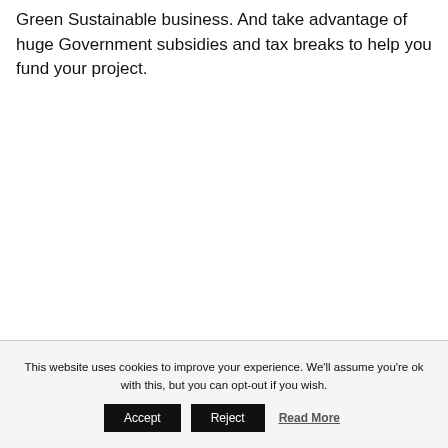Green Sustainable business. And take advantage of huge Government subsidies and tax breaks to help you fund your project.
This website uses cookies to improve your experience. We'll assume you're ok with this, but you can opt-out if you wish.